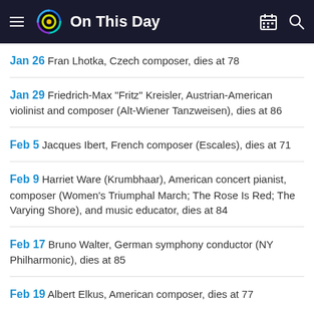On This Day
Jan 26 Fran Lhotka, Czech composer, dies at 78
Jan 29 Friedrich-Max "Fritz" Kreisler, Austrian-American violinist and composer (Alt-Wiener Tanzweisen), dies at 86
Feb 5 Jacques Ibert, French composer (Escales), dies at 71
Feb 9 Harriet Ware (Krumbhaar), American concert pianist, composer (Women's Triumphal March; The Rose Is Red; The Varying Shore), and music educator, dies at 84
Feb 17 Bruno Walter, German symphony conductor (NY Philharmonic), dies at 85
Feb 19 Albert Elkus, American composer, dies at 77